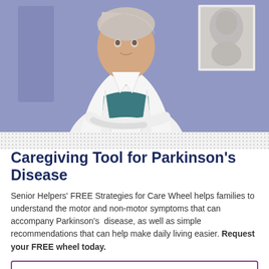[Figure (photo): A woman in a white lab coat (doctor) standing in front of a purple/blue background, with a framed portrait visible on the right side]
Caregiving Tool for Parkinson's Disease
Senior Helpers' FREE Strategies for Care Wheel helps families to understand the motor and non-motor symptoms that can accompany Parkinson's disease, as well as simple recommendations that can help make daily living easier. Request your FREE wheel today.
Please Send Me My Strategies for Care Wheel